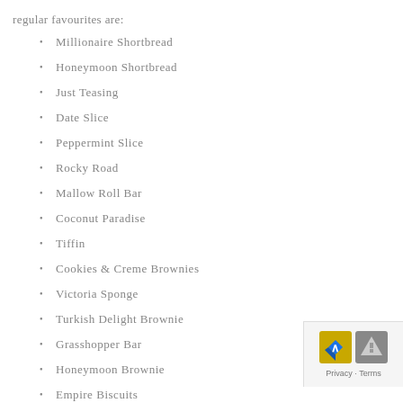regular favourites are:
Millionaire Shortbread
Honeymoon Shortbread
Just Teasing
Date Slice
Peppermint Slice
Rocky Road
Mallow Roll Bar
Coconut Paradise
Tiffin
Cookies & Creme Brownies
Victoria Sponge
Turkish Delight Brownie
Grasshopper Bar
Honeymoon Brownie
Empire Biscuits